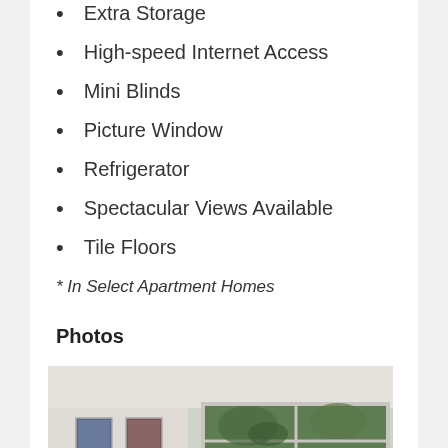Extra Storage
High-speed Internet Access
Mini Blinds
Picture Window
Refrigerator
Spectacular Views Available
Tile Floors
* In Select Apartment Homes
Photos
[Figure (photo): Interior photo of an apartment showing white walls, framed pictures on the wall, and a large sliding glass window with green trees visible outside]